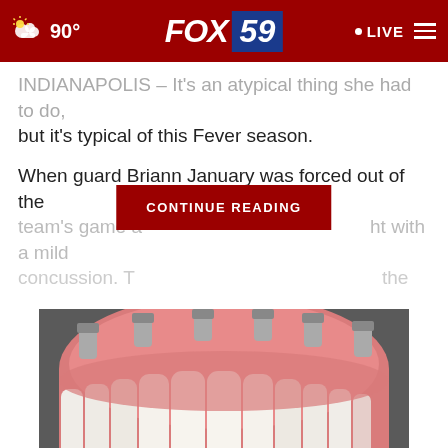90° FOX 59 LIVE
INDIANAPOLIS – It's an atypical thing she had to do, but it's typical of this Fever season.
When guard Briann January was forced out of the team's game a[CONTINUE READING]ht with a mild concussion. T[...]
[Figure (photo): Close-up photograph of dental implant prosthesis — a full arch of white teeth with pink gum material and silver implant abutments visible on top]
[Figure (screenshot): Advertisement banner: 'TAKE THE 1-MINUTE RISK TEST TODAY.' with DolHavePrediabetes.org URL, AMA and CDC logos on dark blue background]